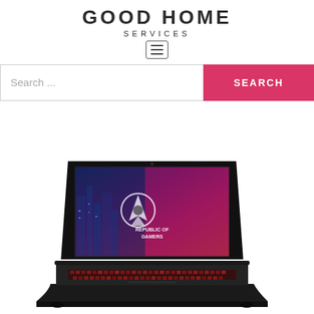GOOD HOME SERVICES
[Figure (illustration): Hamburger menu icon (three horizontal lines inside a rounded rectangle border)]
[Figure (screenshot): Search bar with placeholder text 'Search ...' and a pink/red 'SEARCH' button on the right]
[Figure (photo): ASUS ROG gaming laptop open, showing the Republic of Gamers wallpaper on the display with a blue-purple-pink cityscape and ROG logo, and an illuminated red keyboard, on a white background]